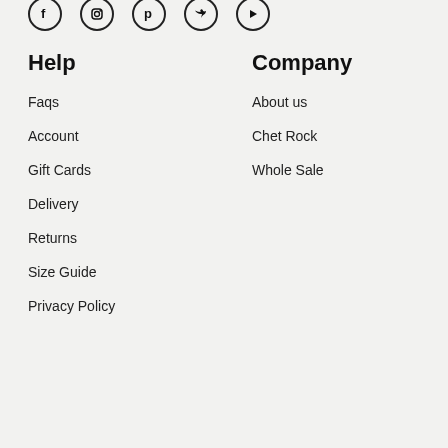[Figure (other): Row of social media icon circles (Facebook, Instagram, Pinterest, Twitter, YouTube/Play) partially visible at top]
Help
Faqs
Account
Gift Cards
Delivery
Returns
Size Guide
Privacy Policy
Company
About us
Chet Rock
Whole Sale